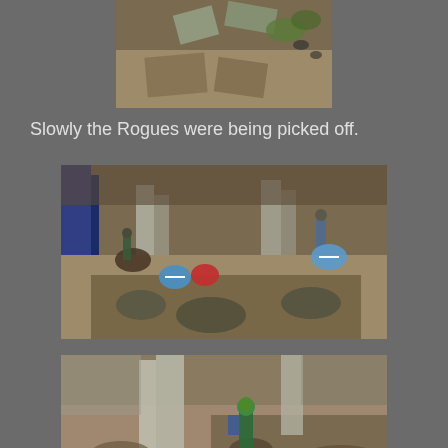[Figure (photo): Top-down view of a miniature wargaming battlefield with terrain pieces including rubble, grass tufts, and game tokens on a sandy/earthy surface.]
Slowly the Rogues were being picked off.
[Figure (photo): Miniature wargaming scene showing small painted figurines on a terrain board with rubble and concrete-like barriers. Blue and red circular game tokens/markers are visible near the miniatures.]
[Figure (photo): Close-up of a painted wargaming miniature figure in blue and green colors positioned behind concrete pillar terrain pieces on a sandy/gravel battlefield surface.]